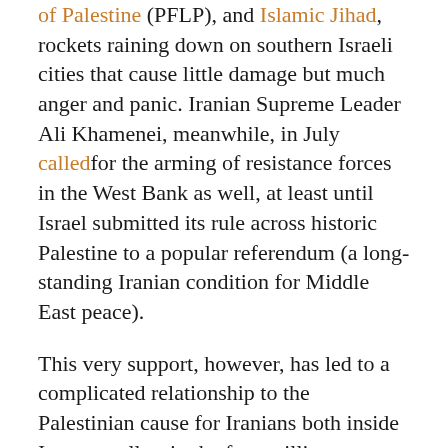of Palestine (PFLP), and Islamic Jihad, rockets raining down on southern Israeli cities that cause little damage but much anger and panic. Iranian Supreme Leader Ali Khamenei, meanwhile, in July called for the arming of resistance forces in the West Bank as well, at least until Israel submitted its rule across historic Palestine to a popular referendum (a long-standing Iranian condition for Middle East peace).
This very support, however, has led to a complicated relationship to the Palestinian cause for Iranians both inside Iran as well as in the four million-strong diaspora. The repression of peaceful dissent in the homeland by the same government that loudly advocates on behalf of Palestinian human rights has left a bitter taste in the mouths of many. While the non-violent international movement for the Boycott, Divestment, and Sanctions (BDS) of Israel has gained steam in recent years, a large number of Iranians have reacted with confusion to calls to boycott Israel, particularly as their own country is suffering intensely under international sanctions. How can those of